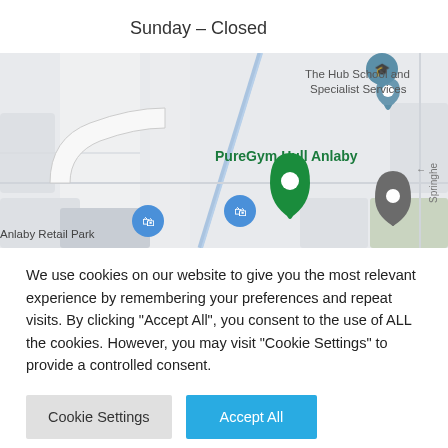Sunday – Closed
[Figure (map): Google Maps screenshot showing PureGym Hull Anlaby location with nearby landmarks: The Hub School and Specialist Services, Summerbridge Doors, Anlaby Retail Park. Map shows roads and location pins.]
We use cookies on our website to give you the most relevant experience by remembering your preferences and repeat visits. By clicking "Accept All", you consent to the use of ALL the cookies. However, you may visit "Cookie Settings" to provide a controlled consent.
Cookie Settings
Accept All